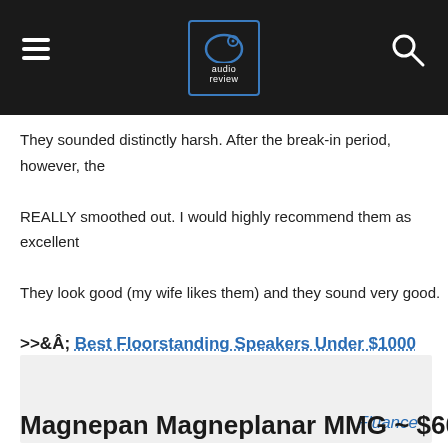[Figure (logo): Audio Review website header with hamburger menu, audio review logo (blue arc/circle icon with 'audio review' text), and search icon on black background]
They sounded distinctly harsh. After the break-in period, however, the REALLY smoothed out. I would highly recommend them as excellent They look good (my wife likes them) and they sound very good.
>>Â  Best Floorstanding Speakers Under $1000
>>Â  Best Floorstanding Speakers Under $2000
[Figure (other): Light gray advertisement box with 'Fluance' text in blue italic in the bottom right corner]
Magnepan Magneplanar MMG ~ $600